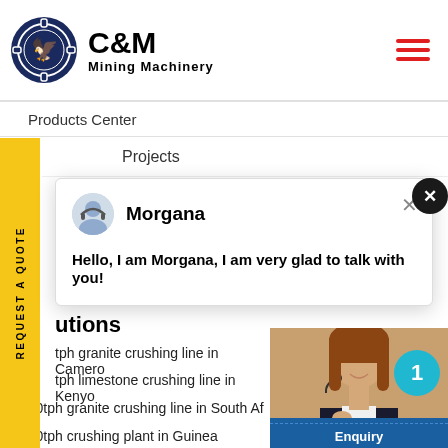[Figure (logo): C&M Mining Machinery logo with dark blue gear and eagle emblem on the left, bold text 'C&M' and 'Mining Machinery' on the right]
Products Center
Projects
REQUEST A QUOTE
[Figure (screenshot): Chat popup with avatar of Morgana, name 'Morgana', message 'Hello, I am Morgana, I am very glad to talk with you!', and close (x) button]
utions
tph granite crushing line in Camero
tph limestone crushing line in Kenyo
250tph granite crushing line in South Af
400tph crushing plant in Guinea
[Figure (photo): Customer service representative wearing headset, smiling, with teal notification badge showing '1', 'Click to Chat' button, and 'Enquiry' bar below]